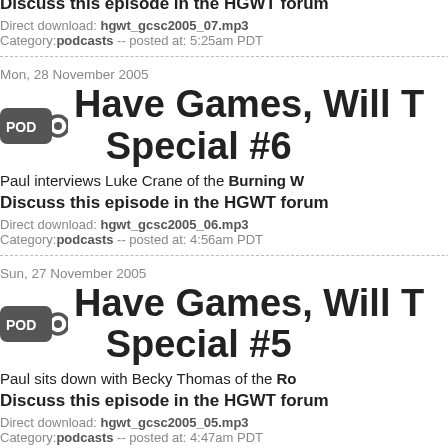Discuss this episode in the HGWT forum
Direct download: hgwt_gcsc2005_07.mp3
Category:podcasts -- posted at: 5:25am PDT
Mon, 28 November 2005
Have Games, Will Travel Special #6
Paul interviews Luke Crane of the Burning W
Discuss this episode in the HGWT forum
Direct download: hgwt_gcsc2005_06.mp3
Category:podcasts -- posted at: 4:56am PDT
Sun, 27 November 2005
Have Games, Will Travel Special #5
Paul sits down with Becky Thomas of the Ro
Discuss this episode in the HGWT forum
Direct download: hgwt_gcsc2005_05.mp3
Category:podcasts -- posted at: 4:47am PDT
Sat, 26 November 2005
Have Games, Will Travel Special #4
Paul discusses effects-based systems with D
Discuss this episode in the HGWT forum